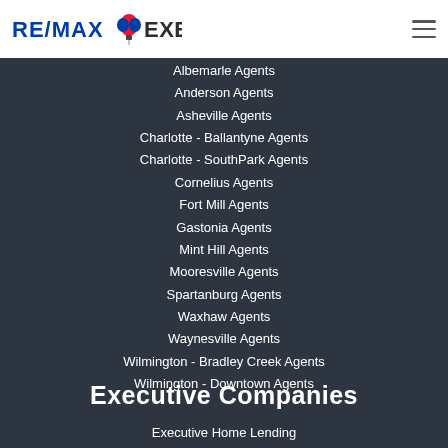[Figure (logo): RE/MAX Executive logo with balloon icon]
Albemarle Agents
Anderson Agents
Asheville Agents
Charlotte - Ballantyne Agents
Charlotte - SouthPark Agents
Cornelius Agents
Fort Mill Agents
Gastonia Agents
Mint Hill Agents
Mooresville Agents
Spartanburg Agents
Waxhaw Agents
Waynesville Agents
Wilmington - Bradley Creek Agents
Wilmington - Downtown Agents
Executive Companies
Executive Home Lending